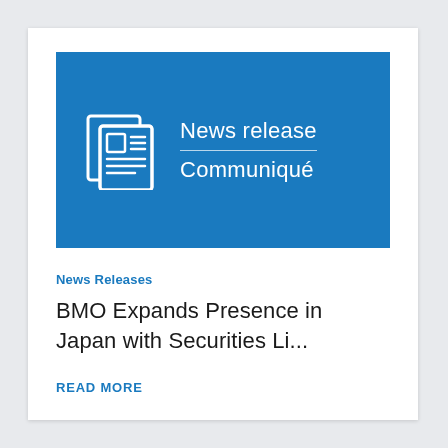[Figure (illustration): Blue rectangular banner with a newspaper/document icon on the left and the text 'News release / Communiqué' in white on a blue background (#1a7abf)]
News Releases
BMO Expands Presence in Japan with Securities Li...
READ MORE